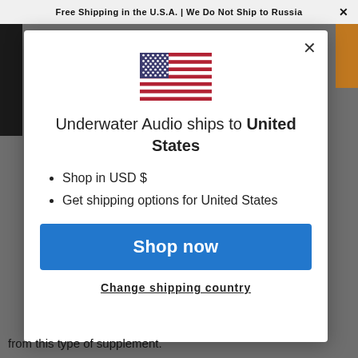Free Shipping in the U.S.A. | We Do Not Ship to Russia
[Figure (illustration): US flag SVG illustration centered in modal dialog]
Underwater Audio ships to United States
Shop in USD $
Get shipping options for United States
Shop now
Change shipping country
from this type of supplement.